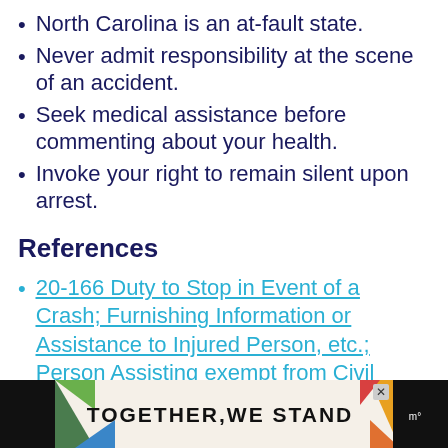North Carolina is an at-fault state.
Never admit responsibility at the scene of an accident.
Seek medical assistance before commenting about your health.
Invoke your right to remain silent upon arrest.
References
20-166 Duty to Stop in Event of a Crash; Furnishing Information or Assistance to Injured Person, etc.; Person Assisting exempt from Civil Liability.
[Figure (other): Advertisement banner: colorful graphic with text TOGETHER, WE STAND on dark background with decorative shapes]